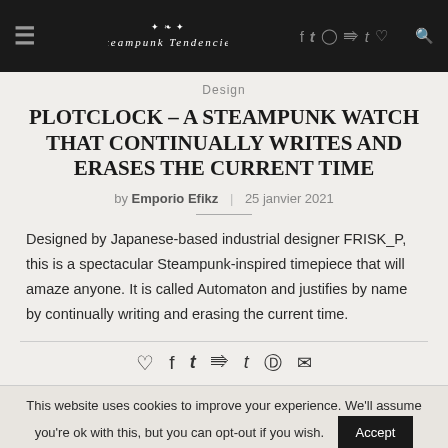≡  Steampunk Tendencies  f t ♡ ℗ t ♡ ))) Q
Design
PLOTCLOCK – A STEAMPUNK WATCH THAT CONTINUALLY WRITES AND ERASES THE CURRENT TIME
by Emporio Efikz | 25 janvier 2021
Designed by Japanese-based industrial designer FRISK_P, this is a spectacular Steampunk-inspired timepiece that will amaze anyone. It is called Automaton and justifies by name by continually writing and erasing the current time.
This website uses cookies to improve your experience. We'll assume you're ok with this, but you can opt-out if you wish. Accept
Read More